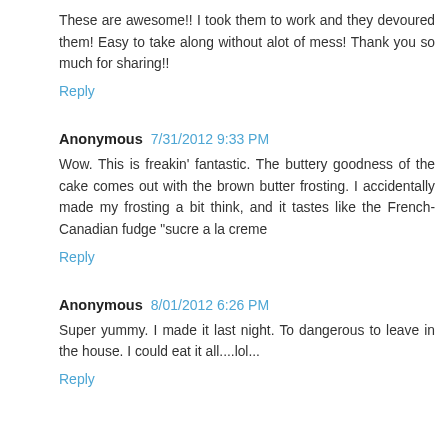These are awesome!! I took them to work and they devoured them! Easy to take along without alot of mess! Thank you so much for sharing!!
Reply
Anonymous  7/31/2012 9:33 PM
Wow. This is freakin' fantastic. The buttery goodness of the cake comes out with the brown butter frosting. I accidentally made my frosting a bit think, and it tastes like the French-Canadian fudge "sucre a la creme
Reply
Anonymous  8/01/2012 6:26 PM
Super yummy. I made it last night. To dangerous to leave in the house. I could eat it all....lol...
Reply